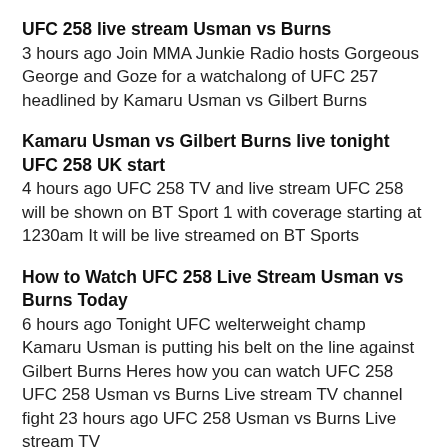UFC 258 live stream Usman vs Burns
3 hours ago Join MMA Junkie Radio hosts Gorgeous George and Goze for a watchalong of UFC 257 headlined by Kamaru Usman vs Gilbert Burns
Kamaru Usman vs Gilbert Burns live tonight UFC 258 UK start
4 hours ago UFC 258 TV and live stream UFC 258 will be shown on BT Sport 1 with coverage starting at 1230am It will be live streamed on BT Sports
How to Watch UFC 258 Live Stream Usman vs Burns Today
6 hours ago Tonight UFC welterweight champ Kamaru Usman is putting his belt on the line against Gilbert Burns Heres how you can watch UFC 258 UFC 258 Usman vs Burns Live stream TV channel fight 23 hours ago UFC 258 Usman vs Burns Live stream TV